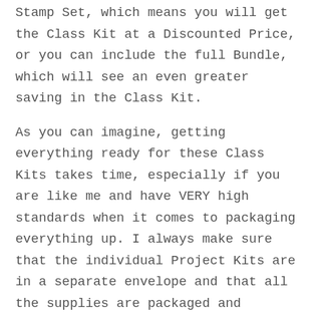Stamp Set, which means you will get the Class Kit at a Discounted Price, or you can include the full Bundle, which will see an even greater saving in the Class Kit.
As you can imagine, getting everything ready for these Class Kits takes time, especially if you are like me and have VERY high standards when it comes to packaging everything up. I always make sure that the individual Project Kits are in a separate envelope and that all the supplies are packaged and labelled. Each Class Kit is wrapped in tissue paper, and includes a little gift as well as a sneak peek of one of the projects from the next Class Kit. The Class Kits are sent in Letter Box friendly boxes, which will have the name of the Kit on the reverse so you can store everything in the box so it is all together for when you want to get started. The Tutorials are emailed, with links to